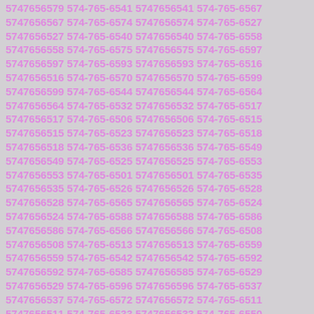5747656579 574-765-6541 5747656541 574-765-6567 5747656567 574-765-6574 5747656574 574-765-6527 5747656527 574-765-6540 5747656540 574-765-6558 5747656558 574-765-6575 5747656575 574-765-6597 5747656597 574-765-6593 5747656593 574-765-6516 5747656516 574-765-6570 5747656570 574-765-6599 5747656599 574-765-6544 5747656544 574-765-6564 5747656564 574-765-6532 5747656532 574-765-6517 5747656517 574-765-6506 5747656506 574-765-6515 5747656515 574-765-6523 5747656523 574-765-6518 5747656518 574-765-6536 5747656536 574-765-6549 5747656549 574-765-6525 5747656525 574-765-6553 5747656553 574-765-6501 5747656501 574-765-6535 5747656535 574-765-6526 5747656526 574-765-6528 5747656528 574-765-6565 5747656565 574-765-6524 5747656524 574-765-6588 5747656588 574-765-6586 5747656586 574-765-6566 5747656566 574-765-6508 5747656508 574-765-6513 5747656513 574-765-6559 5747656559 574-765-6542 5747656542 574-765-6592 5747656592 574-765-6585 5747656585 574-765-6529 5747656529 574-765-6596 5747656596 574-765-6537 5747656537 574-765-6572 5747656572 574-765-6511 5747656511 574-765-6533 5747656533 574-765-6550 5747656550 574-765-6504 5747656504 574-765-6595 5747656595 574-765-6530 5747656530 574-765-6561